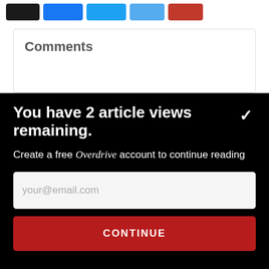[Figure (screenshot): Row of social share buttons: black, blue (Facebook), blue (Twitter dark), light blue (Twitter), red (Pinterest)]
Comments
You have 2 article views remaining.
Create a free Overdrive account to continue reading
your@email.com
CONTINUE